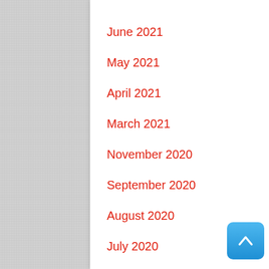June 2021
May 2021
April 2021
March 2021
November 2020
September 2020
August 2020
July 2020
June 2020